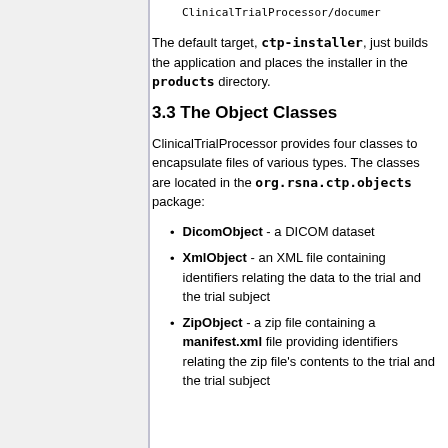ClinicalTrialProcessor/documer
The default target, ctp-installer, just builds the application and places the installer in the products directory.
3.3 The Object Classes
ClinicalTrialProcessor provides four classes to encapsulate files of various types. The classes are located in the org.rsna.ctp.objects package:
DicomObject - a DICOM dataset
XmlObject - an XML file containing identifiers relating the data to the trial and the trial subject
ZipObject - a zip file containing a manifest.xml file providing identifiers relating the zip file's contents to the trial and the trial subject